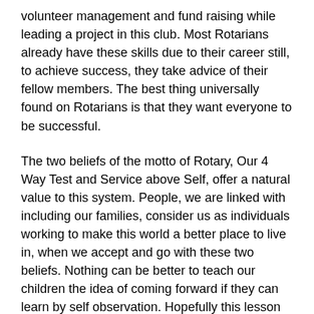volunteer management and fund raising while leading a project in this club. Most Rotarians already have these skills due to their career still, to achieve success, they take advice of their fellow members. The best thing universally found on Rotarians is that they want everyone to be successful.
The two beliefs of the motto of Rotary, Our 4 Way Test and Service above Self, offer a natural value to this system. People, we are linked with including our families, consider us as individuals working to make this world a better place to live in, when we accept and go with these two beliefs. Nothing can be better to teach our children the idea of coming forward if they can learn by self observation. Hopefully this lesson of life of understanding the world and spreading peace will automatically be followed by the increasing numbers of people in our community.